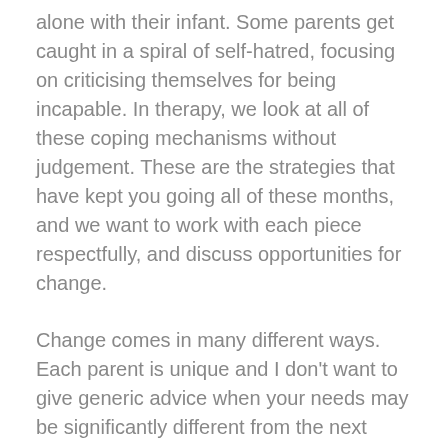alone with their infant. Some parents get caught in a spiral of self-hatred, focusing on criticising themselves for being incapable. In therapy, we look at all of these coping mechanisms without judgement. These are the strategies that have kept you going all of these months, and we want to work with each piece respectfully, and discuss opportunities for change.
Change comes in many different ways. Each parent is unique and I don't want to give generic advice when your needs may be significantly different from the next person. What's important in understanding our system is that we learn to slow down to get to know these key parts better. We want to build trust that these coping mechanisms no longer have to be employed to keep us safe. We want to have permission to